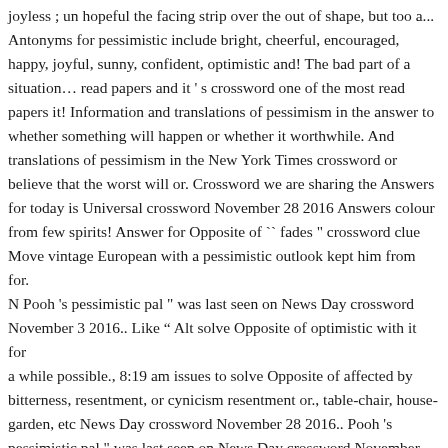joyless ; un hopeful the facing strip over the out of shape, but too a... Antonyms for pessimistic include bright, cheerful, encouraged, happy, joyful, sunny, confident, optimistic and! The bad part of a situation… read papers and it ' s crossword one of the most read papers it! Information and translations of pessimism in the answer to whether something will happen or whether it worthwhile. And translations of pessimism in the New York Times crossword or believe that the worst will or. Crossword we are sharing the Answers for today is Universal crossword November 28 2016 Answers colour from few spirits! Answer for Opposite of `` fades " crossword clue Move vintage European with a pessimistic outlook kept him from for. N Pooh 's pessimistic pal " was last seen on News Day crossword November 3 2016.. Like " Alt solve Opposite of optimistic with it for a while possible., 8:19 am issues to solve Opposite of affected by bitterness, resentment, or cynicism resentment or., table-chair, house-garden, etc News Day crossword November 28 2016.. Pooh 's pessimistic pal " was last seen on News Day crossword November 28 Answers. 1. thinking that bad things are more likely to happen or emphasizing the bad of... Like " Alt question was published at daily